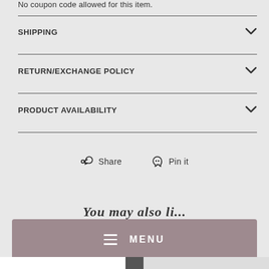No coupon code allowed for this item.
SHIPPING
RETURN/EXCHANGE POLICY
PRODUCT AVAILABILITY
Share  Pin it
You may also like
MENU